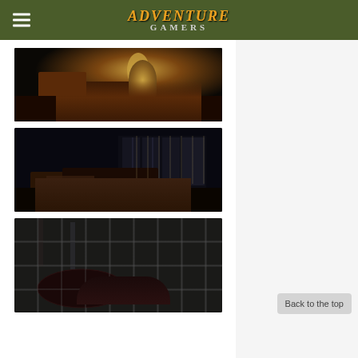Adventure Gamers
[Figure (screenshot): Dark interior room with a lamp on a desk/counter casting warm amber light in a dimly lit scene]
[Figure (screenshot): Dark abandoned room with barred windows letting in faint light, overturned furniture on wooden floor]
[Figure (screenshot): Dark tiled bathroom with cracked tiles, a bathtub, and grimy walls]
Back to the top